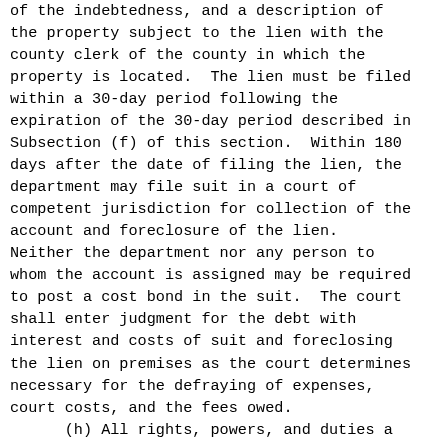of the indebtedness, and a description of the property subject to the lien with the county clerk of the county in which the property is located.  The lien must be filed within a 30-day period following the expiration of the 30-day period described in Subsection (f) of this section.  Within 180 days after the date of filing the lien, the department may file suit in a court of competent jurisdiction for collection of the account and foreclosure of the lien. Neither the department nor any person to whom the account is assigned may be required to post a cost bond in the suit.  The court shall enter judgment for the debt with interest and costs of suit and foreclosing the lien on premises as the court determines necessary for the defraying of expenses, court costs, and the fees owed.
(h) All rights, powers, and duties